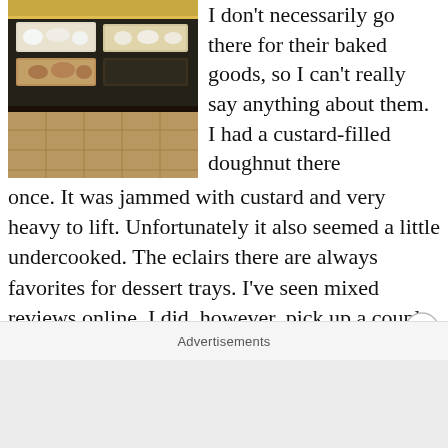[Figure (photo): A glass display case in a bakery or deli showing various food items including what appears to be rice dishes and baked goods on trays.]
I don't necessarily go there for their baked goods, so I can't really say anything about them. I had a custard-filled doughnut there once. It was jammed with custard and very heavy to lift. Unfortunately it also seemed a little undercooked. The eclairs there are always favorites for dessert trays. I've seen mixed reviews online. I did, however, pick up a couple cans of fire-roasted diced tomatoes and tomato sauce to make some unstuffed cabbage rolls tonight. They have several small rows of
Advertisements